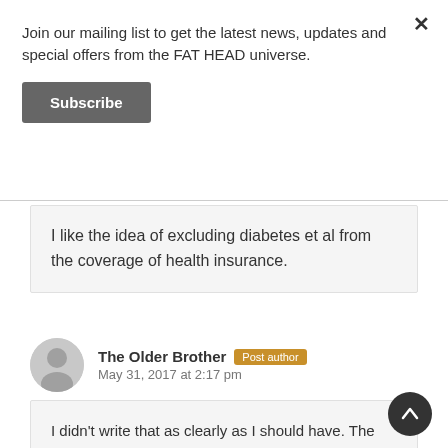Join our mailing list to get the latest news, updates and special offers from the FAT HEAD universe.
Subscribe
I like the idea of excluding diabetes et al from the coverage of health insurance.
The Older Brother
Post author
May 31, 2017 at 2:17 pm
I didn't write that as clearly as I should have. The $300,000 included the surgery and care The Oldest Grandson received while at the pediatric